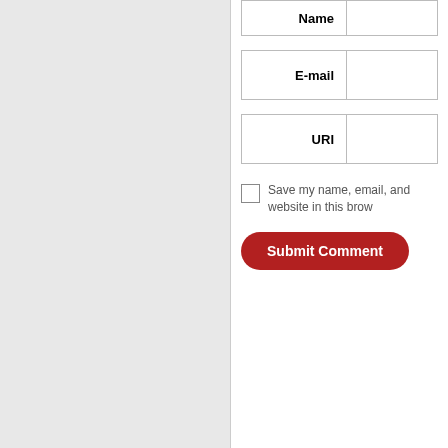| Name |  |
| --- | --- |
| E-mail |  |
| URI |  |
Save my name, email, and website in this brow
Submit Comment
Grails log4j config
This website i property of th helpful info informatio
B1